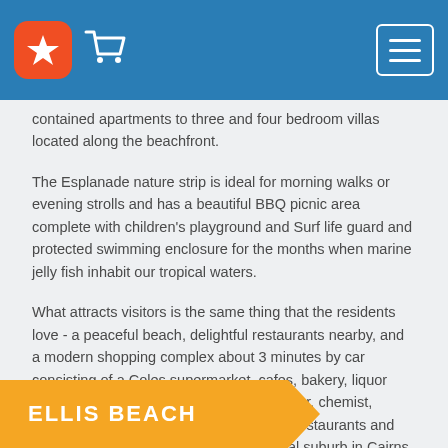Header with star logo, cart icon, and hamburger menu
contained apartments to three and four bedroom villas located along the beachfront.
The Esplanade nature strip is ideal for morning walks or evening strolls and has a beautiful BBQ picnic area complete with children's playground and Surf life guard and protected swimming enclosure for the months when marine jelly fish inhabit our tropical waters.
What attracts visitors is the same thing that the residents love - a peaceful beach, delightful restaurants nearby, and a modern shopping complex about 3 minutes by car consisting of a Coles supermarket, cafes, bakery, liquor store, Post Office, newsagency, hairdresser, chemist, doctors and dental surgery, homewares, restaurants and much more.  This is primarily a residential suburb in Cairns and most tour operators do not pick-up from here.
ELLIS BEACH